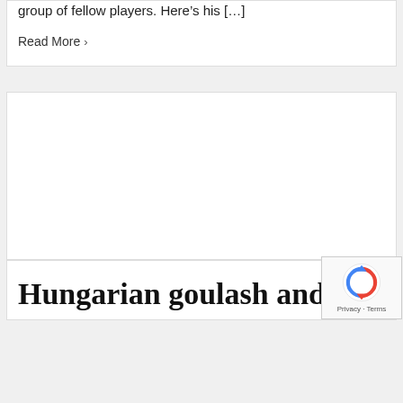group of fellow players. Here's his [...]
Read More >
[Figure (photo): Blank white image area inside a card]
Hungarian goulash and